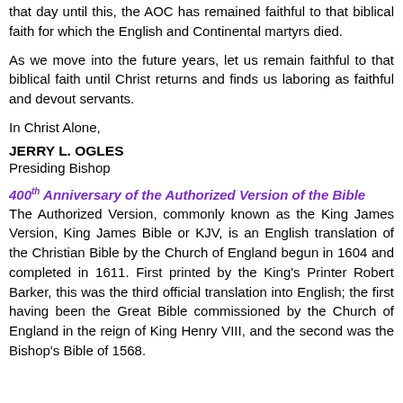that day until this, the AOC has remained faithful to that biblical faith for which the English and Continental martyrs died.
As we move into the future years, let us remain faithful to that biblical faith until Christ returns and finds us laboring as faithful and devout servants.
In Christ Alone,
JERRY L. OGLES
Presiding Bishop
400th Anniversary of the Authorized Version of the Bible
The Authorized Version, commonly known as the King James Version, King James Bible or KJV, is an English translation of the Christian Bible by the Church of England begun in 1604 and completed in 1611. First printed by the King's Printer Robert Barker, this was the third official translation into English; the first having been the Great Bible commissioned by the Church of England in the reign of King Henry VIII, and the second was the Bishop's Bible of 1568.